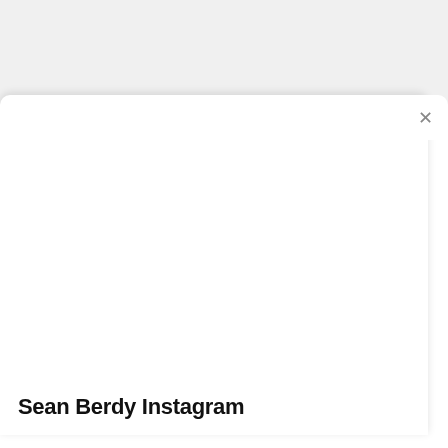[Figure (screenshot): A screenshot of a mobile browser or app showing a white modal card with a close (X) button in the top-right corner, overlaid on a light gray background. The card is mostly blank/empty.]
Sean Berdy Instagram